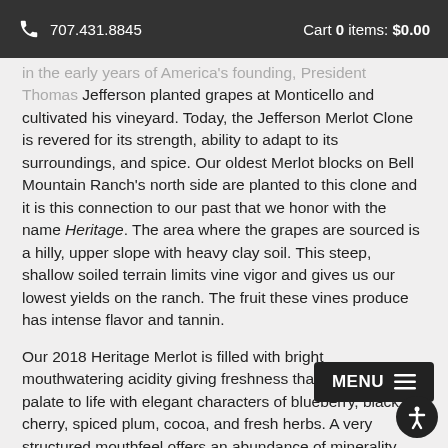707.431.8845   Cart 0 items: $0.00
in the early years of America's founding, President Thomas Jefferson planted grapes at Monticello and cultivated his vineyard. Today, the Jefferson Merlot Clone is revered for its strength, ability to adapt to its surroundings, and spice. Our oldest Merlot blocks on Bell Mountain Ranch's north side are planted to this clone and it is this connection to our past that we honor with the name Heritage. The area where the grapes are sourced is a hilly, upper slope with heavy clay soil. This steep, shallow soiled terrain limits vine vigor and gives us our lowest yields on the ranch. The fruit these vines produce has intense flavor and tannin.
Our 2018 Heritage Merlot is filled with bright mouthwatering acidity giving freshness that brings the palate to life with elegant characters of blueberry, black cherry, spiced plum, cocoa, and fresh herbs. A very structured mouthfeel offers an abundance of minerality and lushness making this a wine that can be enjoyed now but will also open over the years. Enjoy along or together with your favorite summer grilling